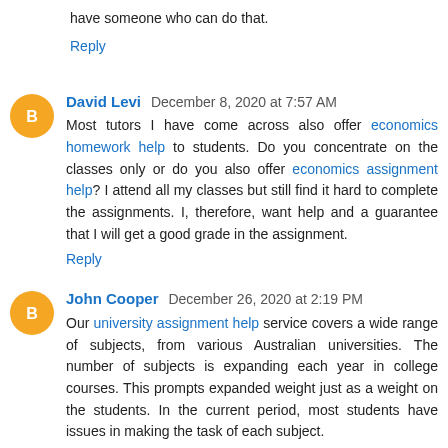have someone who can do that.
Reply
David Levi December 8, 2020 at 7:57 AM
Most tutors I have come across also offer economics homework help to students. Do you concentrate on the classes only or do you also offer economics assignment help? I attend all my classes but still find it hard to complete the assignments. I, therefore, want help and a guarantee that I will get a good grade in the assignment.
Reply
John Cooper December 26, 2020 at 2:19 PM
Our university assignment help service covers a wide range of subjects, from various Australian universities. The number of subjects is expanding each year in college courses. This prompts expanded weight just as a weight on the students. In the current period, most students have issues in making the task of each subject.